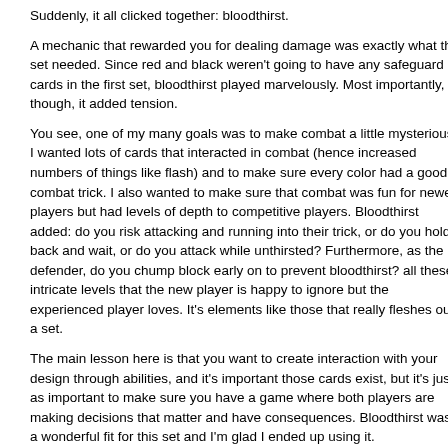Suddenly, it all clicked together: bloodthirst.
A mechanic that rewarded you for dealing damage was exactly what the set needed. Since red and black weren't going to have any safeguard cards in the first set, bloodthirst played marvelously. Most importantly, though, it added tension.
You see, one of my many goals was to make combat a little mysterious. I wanted lots of cards that interacted in combat (hence increased numbers of things like flash) and to make sure every color had a good combat trick. I also wanted to make sure that combat was fun for newer players but had levels of depth to competitive players. Bloodthirst added: do you risk attacking and running into their trick, or do you hold back and wait, or do you attack while unthirsted? Furthermore, as the defender, do you chump block early on to prevent bloodthirst? all these intricate levels that the new player is happy to ignore but the experienced player loves. It's elements like those that really fleshes out a set.
The main lesson here is that you want to create interaction with your design through abilities, and it's important those cards exist, but it's just as important to make sure you have a game where both players are making decisions that matter and have consequences. Bloodthirst was a wonderful fit for this set and I'm glad I ended up using it.
Individual Cards
Now, I could go through all 229 cards and tell you a story about each and some fun design anecdote, but that might get a little trite. Instead, I want to highlight the design stories worth talking about.